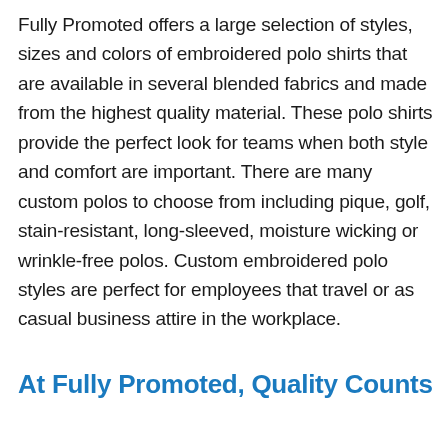Fully Promoted offers a large selection of styles, sizes and colors of embroidered polo shirts that are available in several blended fabrics and made from the highest quality material. These polo shirts provide the perfect look for teams when both style and comfort are important. There are many custom polos to choose from including pique, golf, stain-resistant, long-sleeved, moisture wicking or wrinkle-free polos. Custom embroidered polo styles are perfect for employees that travel or as casual business attire in the workplace.
At Fully Promoted, Quality Counts